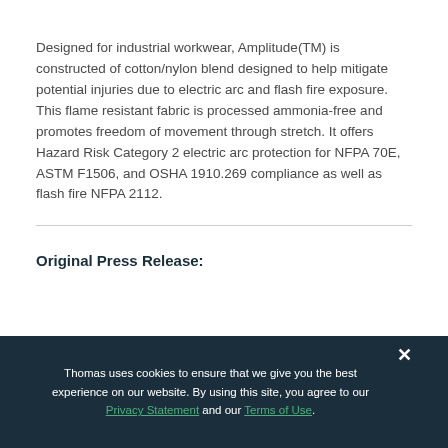Designed for industrial workwear, Amplitude(TM) is constructed of cotton/nylon blend designed to help mitigate potential injuries due to electric arc and flash fire exposure. This flame resistant fabric is processed ammonia-free and promotes freedom of movement through stretch. It offers Hazard Risk Category 2 electric arc protection for NFPA 70E, ASTM F1506, and OSHA 1910.269 compliance as well as flash fire NFPA 2112.
Original Press Release:
Thomas uses cookies to ensure that we give you the best experience on our website. By using this site, you agree to our Privacy Statement and our Terms of Use.